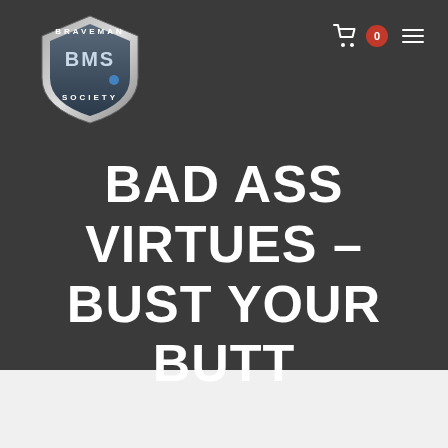Braveman Society — navigation header with logo, cart (0), and menu
BAD ASS VIRTUES – BUST YOUR BUTT